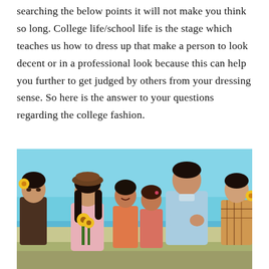searching the below points it will not make you think so long. College life/school life is the stage which teaches us how to dress up that make a person to look decent or in a professional look because this can help you further to get judged by others from your dressing sense. So here is the answer to your questions regarding the college fashion.
[Figure (photo): A group of young college students outdoors. A boy on the left wears a yellow flower accessory and dark clothing. A girl in the center has long dark hair, wears a brown beret, pink outfit, and holds yellow sunflowers. Two girls in the background smile. A boy in a light blue shirt leans toward the girl with flowers. Another boy on the right wears a plaid shirt with a yellow flower. Background is light blue sky.]